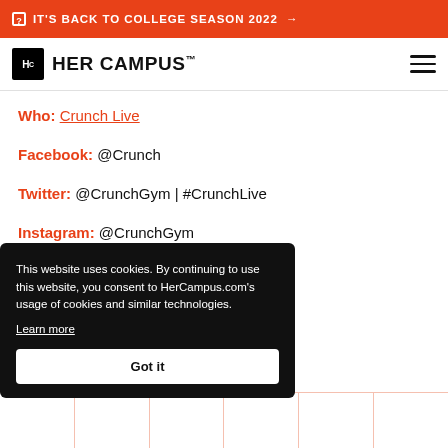IT'S BACK TO COLLEGE SEASON 2022 →
[Figure (logo): Her Campus logo with Hc icon and wordmark]
Who: Crunch Live
Facebook: @Crunch
Twitter: @CrunchGym | #CrunchLive
Instagram: @CrunchGym
Pinterest: @CrunchGym
...mbership
...at getting in shape for the ...how as "one of America's
This website uses cookies. By continuing to use this website, you consent to HerCampus.com's usage of cookies and similar technologies. Learn more Got it